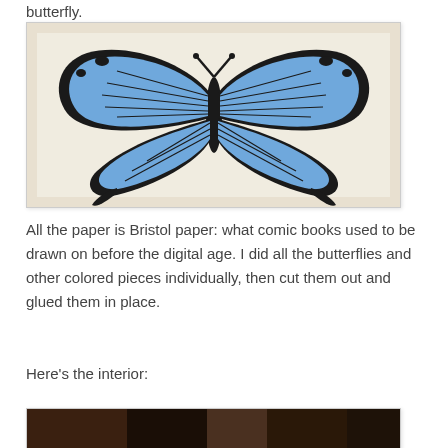butterfly.
[Figure (photo): A hand-drawn and colored butterfly on Bristol paper. The butterfly has black outlines with blue coloring on the wings, displayed against a white background on what appears to be a wooden surface.]
All the paper is Bristol paper: what comic books used to be drawn on before the digital age. I did all the butterflies and other colored pieces individually, then cut them out and glued them in place.
Here's the interior:
[Figure (photo): Partial view of an interior scene, cropped at the bottom of the page.]